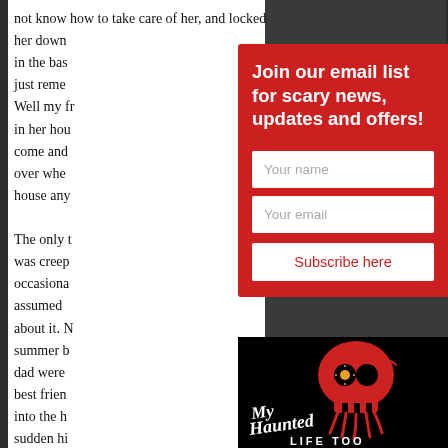not know how to take care of her, and locked her down in the bas... just remen... Well my fr... in her hou... come and... over wher... house any...
Join our email list for scary news, updates and offers!
Your name
Your email
Subscribe here
The only t... was creep... occasiona... assumed... about it. N... summer b... dad were... best frien... into the h... sudden hi... out of the...
[Figure (logo): My Haunted Life Too logo — red skull with eye patch and stylized horror font text on black background]